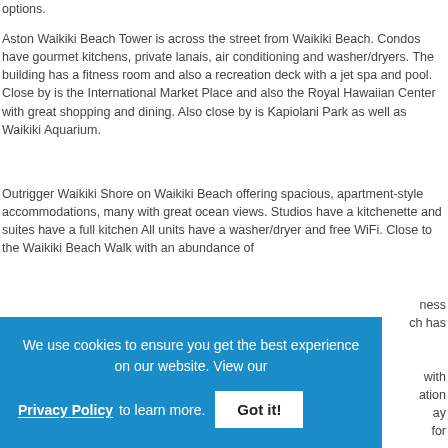options.
Aston Waikiki Beach Tower is across the street from Waikiki Beach. Condos have gourmet kitchens, private lanais, air conditioning and washer/dryers. The building has a fitness room and also a recreation deck with a jet spa and pool. Close by is the International Market Place and also the Royal Hawaiian Center with great shopping and dining. Also close by is Kapiolani Park as well as Waikiki Aquarium.
Outrigger Waikiki Shore on Waikiki Beach offering spacious, apartment-style accommodations, many with great ocean views. Studios have a kitchenette and suites have a full kitchen All units have a washer/dryer and free WiFi. Close to the Waikiki Beach Walk with an abundance of
ness
ch has
with
ation
ay
for
[Figure (other): Cookie consent banner with blue background. Text: 'We use cookies to ensure you get the best experience on our website. View our Privacy Policy to learn more.' with a 'Got it!' button.]